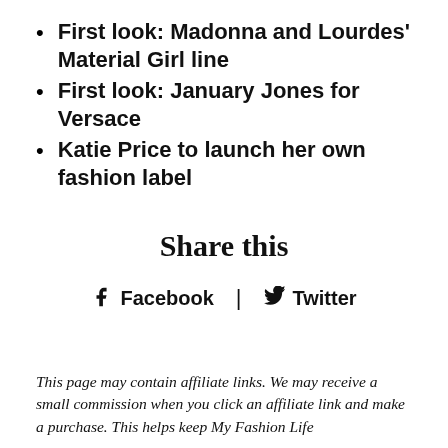First look: Madonna and Lourdes' Material Girl line
First look: January Jones for Versace
Katie Price to launch her own fashion label
Share this
Facebook | Twitter
This page may contain affiliate links. We may receive a small commission when you click an affiliate link and make a purchase. This helps keep My Fashion Life